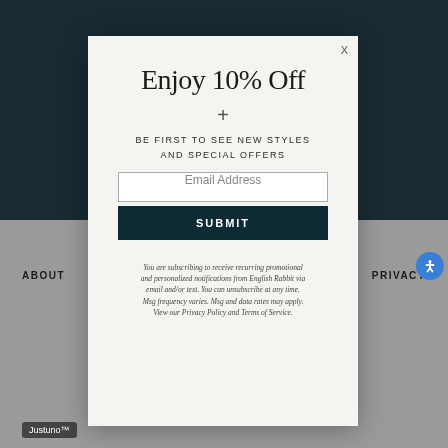Enjoy 10% Off
+
BE FIRST TO SEE NEW STYLES AND SPECIAL OFFERS
Email Address
SUBMIT
You are subscribing to receive recurring promotional and personalized notifications from English Rabbit via email and/or text. You can unsubscribe at any time. Msg frequency varies. Msg and data rates may apply. View our Privacy Policy and Terms of Service.